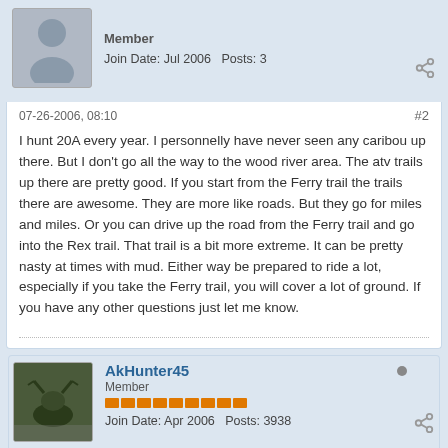Member
Join Date: Jul 2006  Posts: 3
07-26-2006, 08:10
#2
I hunt 20A every year. I personnelly have never seen any caribou up there. But I don't go all the way to the wood river area. The atv trails up there are pretty good. If you start from the Ferry trail the trails there are awesome. They are more like roads. But they go for miles and miles. Or you can drive up the road from the Ferry trail and go into the Rex trail. That trail is a bit more extreme. It can be pretty nasty at times with mud. Either way be prepared to ride a lot, especially if you take the Ferry trail, you will cover a lot of ground. If you have any other questions just let me know.
AkHunter45
Member
Join Date: Apr 2006  Posts: 3938
07-26-2006, 08:20
#3
I use to hunt that area every year until it went draw and haven't